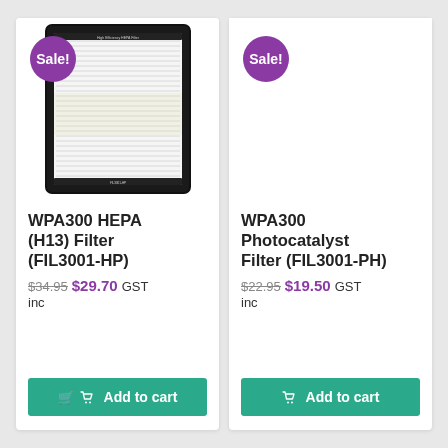[Figure (photo): WPA300 HEPA (H13) Filter product image with a 'Sale!' badge in purple circle]
WPA300 HEPA (H13) Filter (FIL3001-HP)
$34.95  $29.70 GST inc
Add to cart
[Figure (other): WPA300 Photocatalyst Filter product — no image shown, with a 'Sale!' badge in purple circle]
WPA300 Photocatalyst Filter (FIL3001-PH)
$22.95  $19.50 GST inc
Add to cart